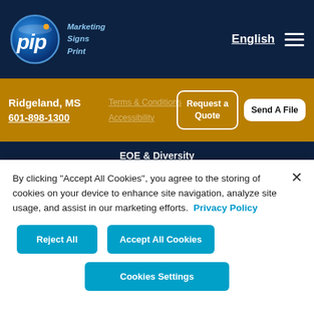[Figure (logo): PIP Marketing Signs Print logo — circular blue logo with 'pip' text in white italic, orange dot accent, and tagline 'Marketing Signs Print' in light blue italic text]
English
Ridgeland, MS
601-898-1300
Terms & Conditions
Accessibility
Request a Quote
Send A File
EOE & Diversity
Environmental Message
Sitemap
By clicking “Accept All Cookies”, you agree to the storing of cookies on your device to enhance site navigation, analyze site usage, and assist in our marketing efforts.  Privacy Policy
Reject All
Accept All Cookies
Cookies Settings